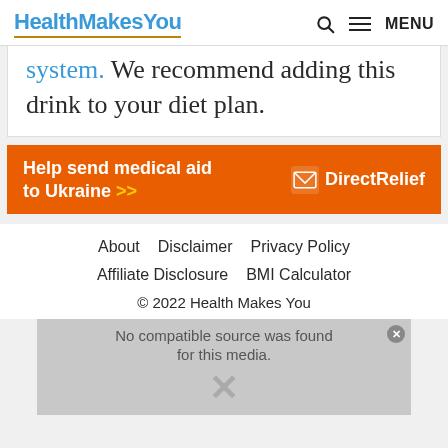HealthMakesYou  🔍  ≡ MENU
system. We recommend adding this drink to your diet plan.
[Figure (infographic): Orange advertisement banner: 'Help send medical aid to Ukraine >>' with DirectRelief logo]
About   Disclaimer   Privacy Policy   Affiliate Disclosure   BMI Calculator   © 2022 Health Makes You
[Figure (screenshot): Video player overlay with message 'No compatible source was found for this media.' and X close button]